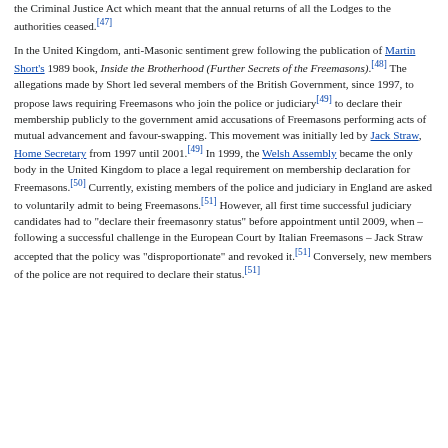the Criminal Justice Act which meant that the annual returns of all the Lodges to the authorities ceased.[47]
In the United Kingdom, anti-Masonic sentiment grew following the publication of Martin Short's 1989 book, Inside the Brotherhood (Further Secrets of the Freemasons).[48] The allegations made by Short led several members of the British Government, since 1997, to propose laws requiring Freemasons who join the police or judiciary[49] to declare their membership publicly to the government amid accusations of Freemasons performing acts of mutual advancement and favour-swapping. This movement was initially led by Jack Straw, Home Secretary from 1997 until 2001.[49] In 1999, the Welsh Assembly became the only body in the United Kingdom to place a legal requirement on membership declaration for Freemasons.[50] Currently, existing members of the police and judiciary in England are asked to voluntarily admit to being Freemasons.[51] However, all first time successful judiciary candidates had to "declare their freemasonry status" before appointment until 2009, when – following a successful challenge in the European Court by Italian Freemasons – Jack Straw accepted that the policy was "disproportionate" and revoked it.[51] Conversely, new members of the police are not required to declare their status.[51]